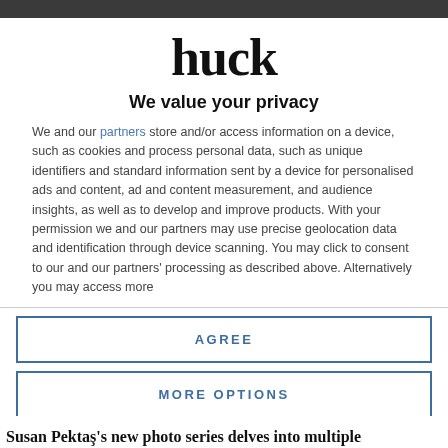huck
We value your privacy
We and our partners store and/or access information on a device, such as cookies and process personal data, such as unique identifiers and standard information sent by a device for personalised ads and content, ad and content measurement, and audience insights, as well as to develop and improve products. With your permission we and our partners may use precise geolocation data and identification through device scanning. You may click to consent to our and our partners' processing as described above. Alternatively you may access more
AGREE
MORE OPTIONS
Susan Pektaş's new photo series delves into multiple